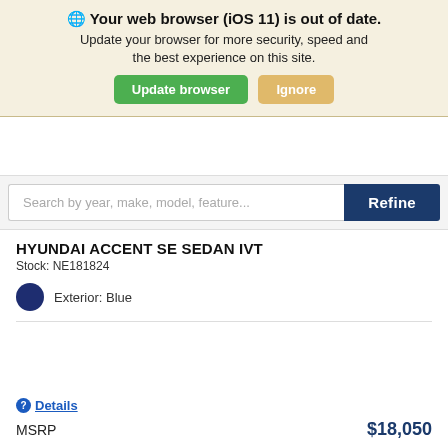[Figure (screenshot): Browser update warning banner with globe icon, bold title 'Your web browser (iOS 11) is out of date.', body text, and two buttons: 'Update browser' (green) and 'Ignore' (tan).]
Search by year, make, model, feature...
Refine
HYUNDAI ACCENT SE SEDAN IVT
Stock: NE181824
Exterior: Blue
Details
MSRP
$18,050
Get Lehman Price